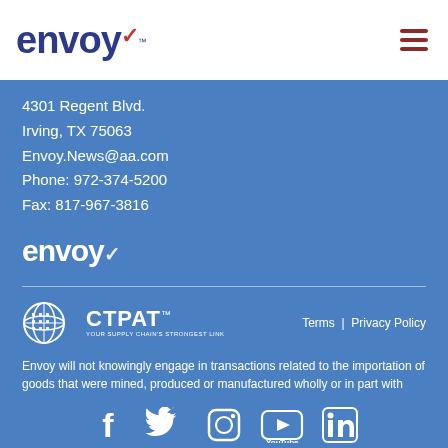[Figure (logo): Envoy logo with dark blue text and red checkmark accent, plus hamburger menu icon in dark red on the right]
4301 Regent Blvd.
Irving, TX 75063
Envoy.News@aa.com
Phone: 972-374-5200
Fax: 817-967-3816
[Figure (logo): Envoy logo in white text on blue background]
[Figure (logo): CTPAT logo - globe icon with CTPAT text and tagline 'YOUR SUPPLY CHAIN'S STRONGEST LINK']
Terms | Privacy Policy
Envoy will not knowingly engage in transactions related to the importation of goods that were mined, produced or manufactured wholly or in part with
[Figure (infographic): Social media icons: Facebook, Twitter, Instagram, YouTube, LinkedIn - all white on blue background]